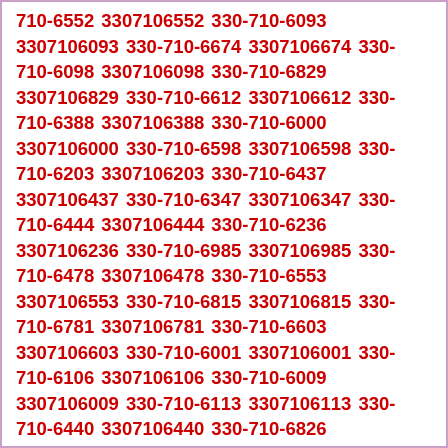710-6552 3307106552 330-710-6093 3307106093 330-710-6674 3307106674 330-710-6098 3307106098 330-710-6829 3307106829 330-710-6612 3307106612 330-710-6388 3307106388 330-710-6000 3307106000 330-710-6598 3307106598 330-710-6203 3307106203 330-710-6437 3307106437 330-710-6347 3307106347 330-710-6444 3307106444 330-710-6236 3307106236 330-710-6985 3307106985 330-710-6478 3307106478 330-710-6553 3307106553 330-710-6815 3307106815 330-710-6781 3307106781 330-710-6603 3307106603 330-710-6001 3307106001 330-710-6106 3307106106 330-710-6009 3307106009 330-710-6113 3307106113 330-710-6440 3307106440 330-710-6826 3307106826 330-710-6054 3307106054 330-710-6939 3307106939 330-710-6462 3307106462 330-710-6448 3307106448 330-710-6125 3307106125 330-710-6607 3307106607 330-710-6038 3307106038 330-710-6349 3307106349 330-710-6848